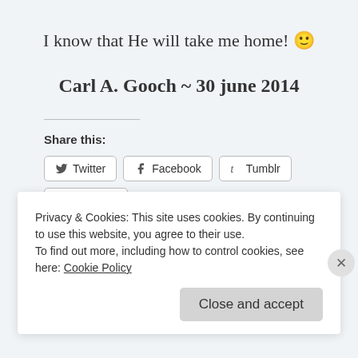I know that He will take me home! 🙂
Carl A. Gooch ~ 30 june 2014
Share this:
Twitter
Facebook
Tumblr
Pinterest
LinkedIn
Email
Skype
Loading...
Privacy & Cookies: This site uses cookies. By continuing to use this website, you agree to their use.
To find out more, including how to control cookies, see here: Cookie Policy
Close and accept